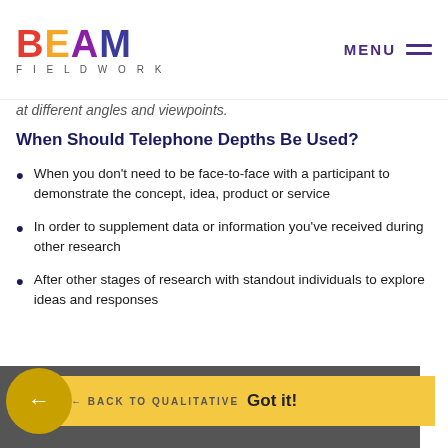BEAM FIELDWORK | MENU
at different angles and viewpoints.
When Should Telephone Depths Be Used?
When you don't need to be face-to-face with a participant to demonstrate the concept, idea, product or service
In order to supplement data or information you've received during other research
After other stages of research with standout individuals to explore ideas and responses
We use cookies to improve your experience and deliver personalised content. By using BEAM, you agree to our Cookie Policy
Got it!
← BACK TO QUALITATIVE